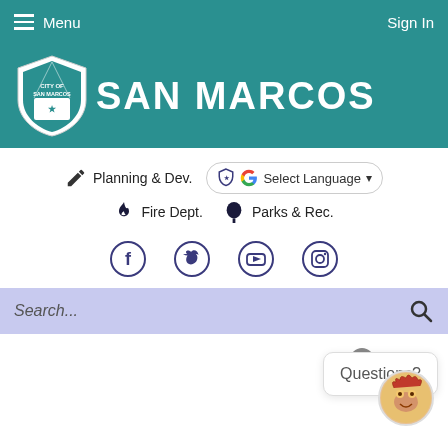Menu  Sign In
[Figure (logo): City of San Marcos Texas government website header with city shield logo and SAN MARCOS text in white on teal background]
Planning & Dev.
Select Language
Fire Dept.
Parks & Rec.
[Figure (infographic): Social media icons: Facebook, Twitter, YouTube, Instagram]
Search...
Questions?